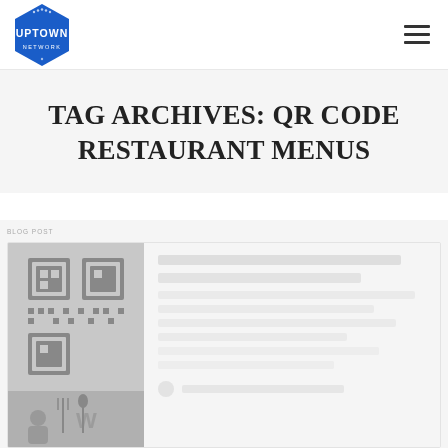Uptown Network — Navigation header with logo and hamburger menu
TAG ARCHIVES: QR CODE RESTAURANT MENUS
[Figure (screenshot): Partially visible blog post card with a thumbnail image showing a QR code and restaurant menu related photo, with article text on the right side.]